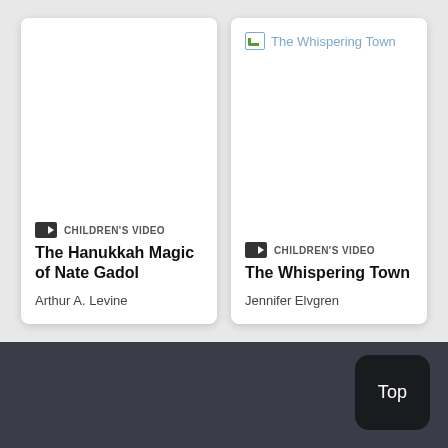[Figure (screenshot): Two book/video cards side by side. Left card: 'The Hanukkah Magic of Nate Gadol' children's video by Arthur A. Levine (no cover image loaded). Right card: 'The Whispering Town' children's video by Jennifer Elvgren (broken image placeholder showing text 'The Whispering Town').]
CHILDREN'S VIDEO
The Hanukkah Magic of Nate Gadol
Arthur A. Levine
CHILDREN'S VIDEO
The Whispering Town
Jennifer Elvgren
Top